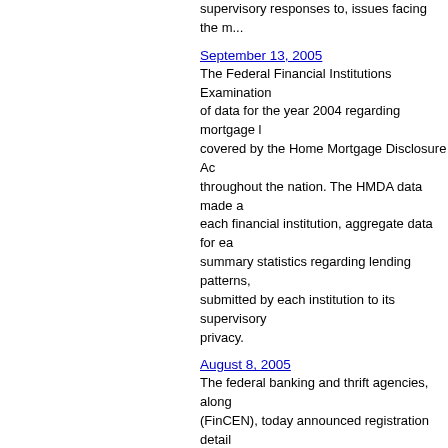supervisory responses to, issues facing the m...
September 13, 2005
The Federal Financial Institutions Examination... of data for the year 2004 regarding mortgage l... covered by the Home Mortgage Disclosure Ac... throughout the nation. The HMDA data made a... each financial institution, aggregate data for ea... summary statistics regarding lending patterns,... submitted by each institution to its supervisory... privacy.
August 8, 2005
The federal banking and thrift agencies, along... (FinCEN), today announced registration detail... Money Laundering Examination Manual outrea...
August 03, 2005
Four Federal Financial Institutions Examinatio... Governors of the Federal Reserve System, the... of the Comptroller of the Currency, and the Of... availability of data on small business, small fa... by certain commercial banks and savings insti... Act (CRA).
July 28, 2005
The Federal Financial Institutions Examination... its Bank Secrecy Act (BSA)/Anti-Money Launc... automated tool for examiners and industry tha... Examination Manual (Manual) released on Jun...
June 30, 2005
The Federal Financial Institutions Examination...